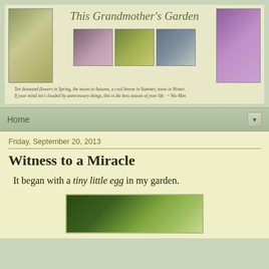[Figure (photo): Blog header banner with five garden/nature photos (flowering branch, coneflower, goldfinch bird, bird nest with eggs, lilac blooms), italic script title 'This Grandmother's Garden', and an italic quote below]
This Grandmother's Garden
Ten thousand flowers in Spring, the moon in Autumn, a cool breeze in Summer, snow in Winter. If your mind isn't clouded by unnecessary things, this is the best season of your life.  ~ Wu-Men
Home
Friday, September 20, 2013
Witness to a Miracle
It began with a tiny little egg in my garden.
[Figure (photo): Close-up photo of a green leaf in the garden, blurred green background]